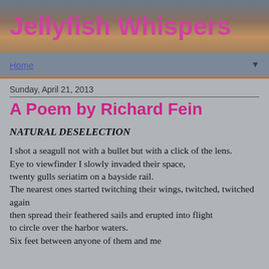Jellyfish Whispers
Home
Sunday, April 21, 2013
A Poem by Richard Fein
NATURAL DESELECTION
I shot a seagull not with a bullet but with a click of the lens.
Eye to viewfinder I slowly invaded their space,
twenty gulls seriatim on a bayside rail.
The nearest ones started twitching their wings, twitched, twitched again
then spread their feathered sails and erupted into flight
to circle over the harbor waters.
Six feet between anyone of them and me